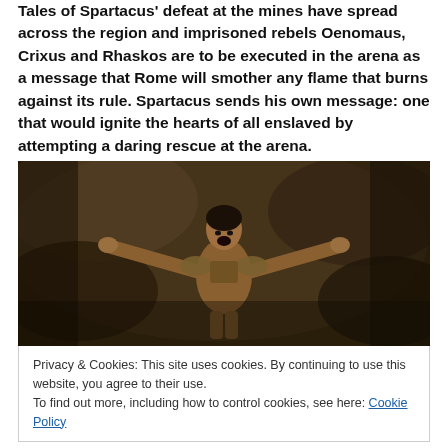Tales of Spartacus' defeat at the mines have spread across the region and imprisoned rebels Oenomaus, Crixus and Rhaskos are to be executed in the arena as a message that Rome will smother any flame that burns against its rule. Spartacus sends his own message: one that would ignite the hearts of all enslaved by attempting a daring rescue at the arena.
[Figure (photo): A man in gladiator armor with arms outstretched and mouth open in a battle cry, against a dark rocky background]
Privacy & Cookies: This site uses cookies. By continuing to use this website, you agree to their use.
To find out more, including how to control cookies, see here: Cookie Policy
Close and accept
Advertisements